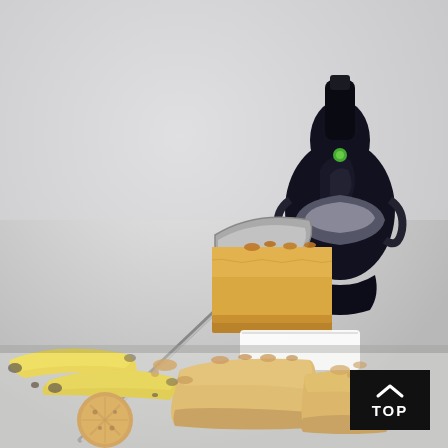[Figure (photo): Food photography showing a slice of banana peanut butter frozen cheesecake/bar being lifted on a spatula, with bananas, peanut butter cookies, and a dark juicer/blender appliance in the background on a white surface.]
[Figure (other): Dark square badge with an upward chevron arrow icon and the text 'TOP' in white letters, positioned at the bottom-right corner of the image.]